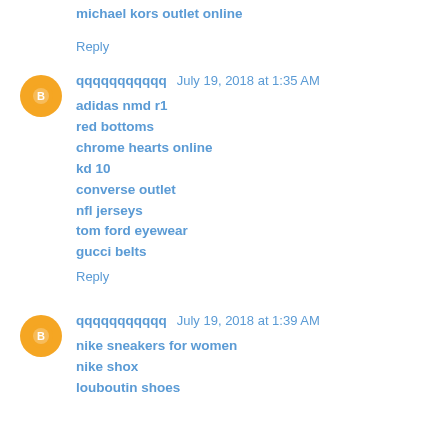michael kors outlet online
Reply
qqqqqqqqqqq July 19, 2018 at 1:35 AM
adidas nmd r1
red bottoms
chrome hearts online
kd 10
converse outlet
nfl jerseys
tom ford eyewear
gucci belts
Reply
qqqqqqqqqqq July 19, 2018 at 1:39 AM
nike sneakers for women
nike shox
louboutin shoes